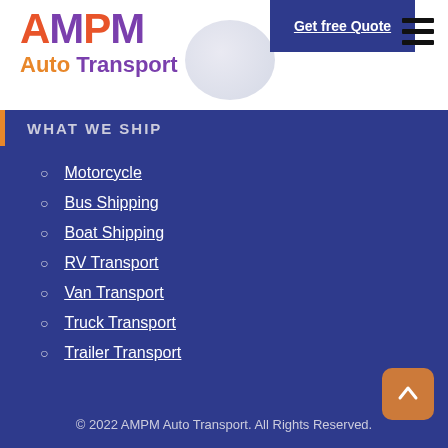AMPM Auto Transport — Get free Quote
[Figure (logo): AMPM Auto Transport logo with globe graphic. 'AM' in gradient orange-to-purple, 'PM' in purple, 'Auto' in orange bold, 'Transport' in purple bold.]
WHAT WE SHIP
Motorcycle
Bus Shipping
Boat Shipping
RV Transport
Van Transport
Truck Transport
Trailer Transport
© 2022 AMPM Auto Transport. All Rights Reserved.